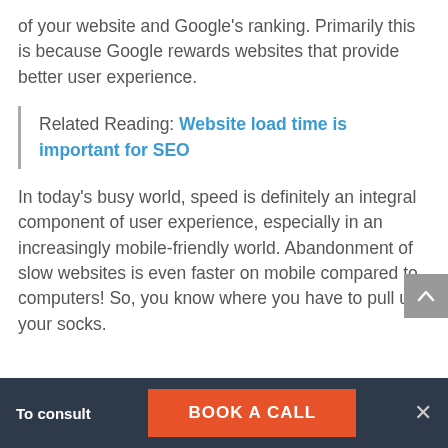of your website and Google's ranking. Primarily this is because Google rewards websites that provide better user experience.
Related Reading: Website load time is important for SEO
In today's busy world, speed is definitely an integral component of user experience, especially in an increasingly mobile-friendly world. Abandonment of slow websites is even faster on mobile compared to computers! So, you know where you have to pull up your socks.
To consult  BOOK A CALL  ×